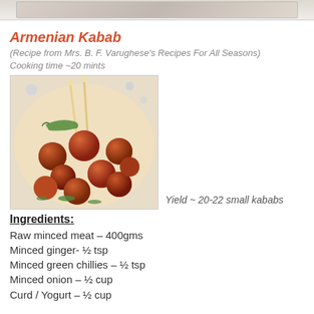[Figure (photo): Top partial image of food dish, cropped at top of page]
Armenian Kabab
(Recipe from Mrs. B. F. Varughese's Recipes For All Seasons)
Cooking time ~20 mints
[Figure (photo): Photo of small round fried kababs on a light-colored plate with green chillies and wooden skewers]
Yield ~ 20-22 small kababs
Ingredients:
Raw minced meat – 400gms
Minced ginger- ½ tsp
Minced green chillies – ½ tsp
Minced onion – ½ cup
Curd / Yogurt – ½ cup